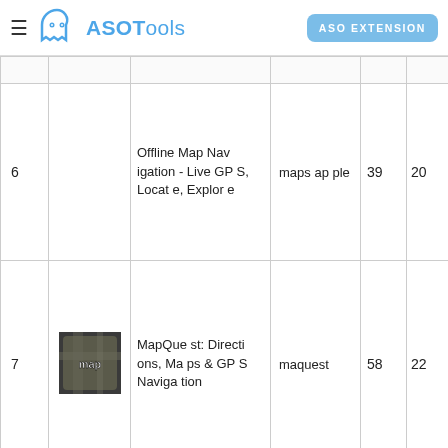ASOTools — ASO EXTENSION
| # | Icon | App Name | Keyword | Score | Rank |
| --- | --- | --- | --- | --- | --- |
| 6 |  | Offline Map Navigation - Live GPS, Locate, Explore | maps apple | 39 | 20 |
| 7 | [MapQuest icon] | MapQuest: Directions, Maps & GPS Navigation | maquest | 58 | 22 |
| 8 | [ArcGIS icon] | ArcGIS Fi... |  |  |  |